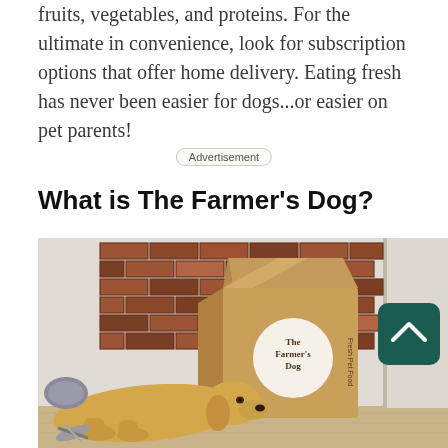fruits, vegetables, and proteins. For the ultimate in convenience, look for subscription options that offer home delivery. Eating fresh has never been easier for dogs...or easier on pet parents!
Advertisement
What is The Farmer's Dog?
[Figure (photo): A golden retriever puppy lying on the floor in front of an open cardboard box labeled 'The Farmer's Dog Fresh Pet Food', set against a brick wall background. A dark teal scroll-to-top button with a chevron icon is visible on the right side.]